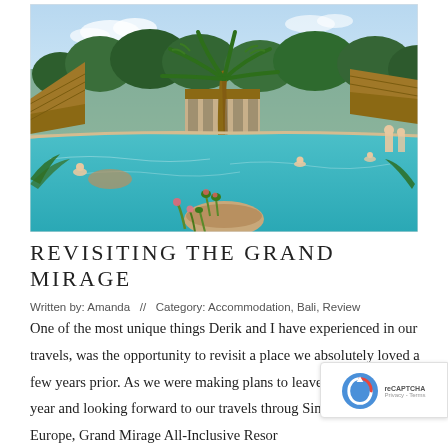[Figure (photo): Tropical resort pool scene at Grand Mirage Bali. A large turquoise infinity pool is surrounded by palm trees, tropical plants, and thatched-roof bale structures. Several guests are swimming or relaxing in and around the pool. Blue sky with light clouds in the background.]
REVISITING THE GRAND MIRAGE
Written by: Amanda  //  Category: Accommodation, Bali, Review
One of the most unique things Derik and I have experienced in our travels, was the opportunity to revisit a place we absolutely loved a few years prior. As we were making plans to leave New Zealand last year and looking forward to our travels through Singapore, and Europe, Grand Mirage All-Inclusive Resor… is in the …